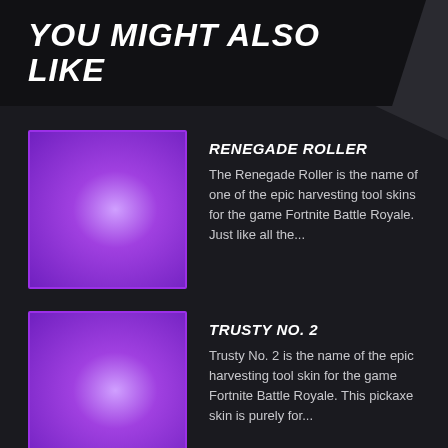YOU MIGHT ALSO LIKE
[Figure (illustration): Purple gradient square thumbnail with purple border representing Renegade Roller item]
RENEGADE ROLLER
The Renegade Roller is the name of one of the epic harvesting tool skins for the game Fortnite Battle Royale. Just like all the...
[Figure (illustration): Purple gradient square thumbnail with purple border representing Trusty No. 2 item]
TRUSTY NO. 2
Trusty No. 2 is the name of the epic harvesting tool skin for the game Fortnite Battle Royale. This pickaxe skin is purely for...